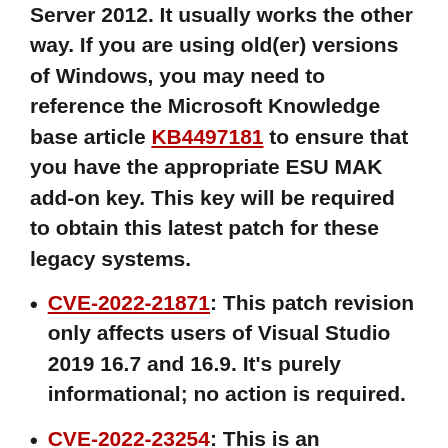Server 2012. It usually works the other way. If you are using old(er) versions of Windows, you may need to reference the Microsoft Knowledge base article KB4497181 to ensure that you have the appropriate ESU MAK add-on key. This key will be required to obtain this latest patch for these legacy systems.
CVE-2022-21871: This patch revision only affects users of Visual Studio 2019 16.7 and 16.9. It's purely informational; no action is required.
CVE-2022-23254: This is an information change to this patch's title. No further action necessary.